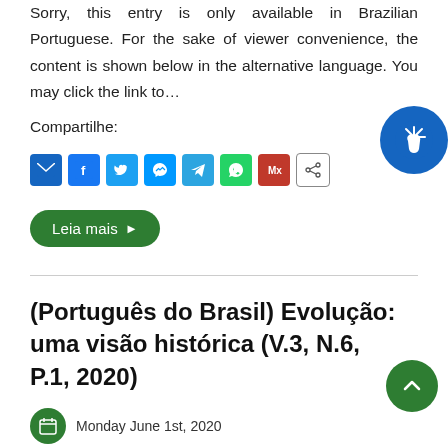Sorry, this entry is only available in Brazilian Portuguese. For the sake of viewer convenience, the content is shown below in the alternative language. You may click the link to…
Compartilhe:
[Figure (illustration): Accessibility button with hand icon, blue circle, top right]
[Figure (infographic): Share icons row: Email (blue), Facebook (blue), Twitter (light blue), Messenger (blue), Telegram (blue), WhatsApp (green), Mixcloud (red), Share (outlined)]
Leia mais ▶
(Português do Brasil) Evolução: uma visão histórica (V.3, N.6, P.1, 2020)
Monday June 1st, 2020